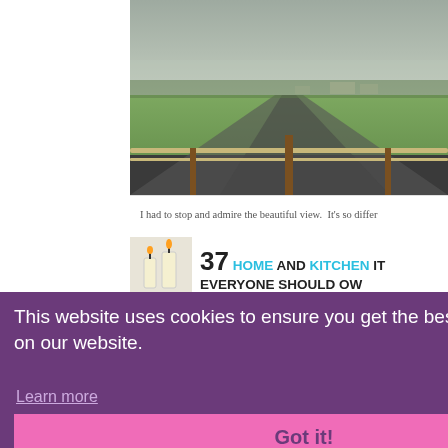[Figure (photo): Outdoor rural landscape photo showing green fields, a wooden fence, a road, and farm buildings in the distance under an overcast sky.]
I had to stop and admire the beautiful view.  It's so differ
[Figure (infographic): 37 HOME AND KITCHEN ITEMS EVERYONE SHOULD OWN — advertisement with candle image]
This website uses cookies to ensure you get the best experience on our website.
Learn more
Got it!
CLOSE
[Figure (infographic): ND KITCH SHOULD O — partial yellow banner ad text (kitchen items advertisement)]
[Figure (infographic): ITEMS F LOVE T PURCHA ON AM — partial items list advertisement with large 7 graphic]
[Figure (advertisement): Bloomingdales ad: 'View Today's Top Deals!' with SHOP NOW button and woman in hat image]